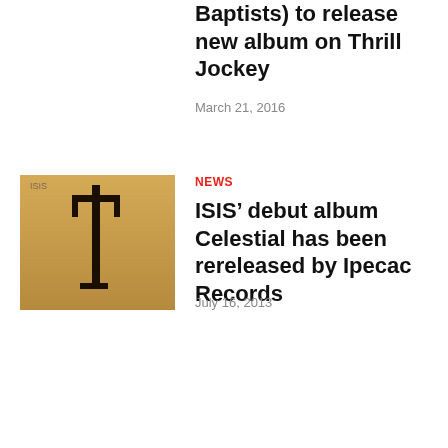Baptists) to release new album on Thrill Jockey
March 21, 2016
NEWS
[Figure (photo): A silhouette of a structure against an amber/golden background]
ISIS’ debut album Celestial has been rereleased by Ipecac Records
July 16, 2013